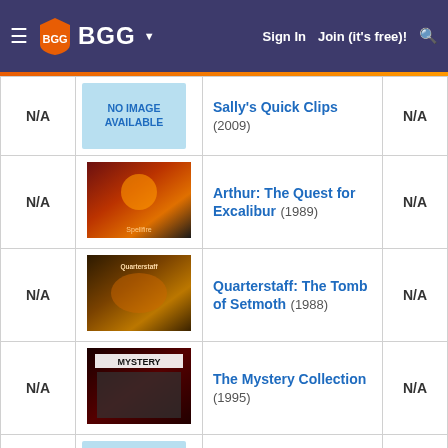BGG — Sign In  Join (it's free)!
| Rank | Image | Title | Rating |
| --- | --- | --- | --- |
| N/A | [image] | Sally's Quick Clips (2009) | N/A |
| N/A | [image] | Arthur: The Quest for Excalibur (1989) | N/A |
| N/A | [image] | Quarterstaff: The Tomb of Setmoth (1988) | N/A |
| N/A | [image] | The Mystery Collection (1995) | N/A |
| N/A | [image] | The Adventure Collection (1995) | N/A |